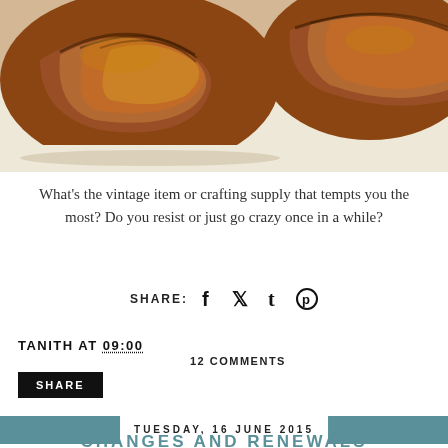[Figure (photo): Close-up photo of cinnamon rolls/pastry buns on a white plate or surface]
What's the vintage item or crafting supply that tempts you the most? Do you resist or just go crazy once in a while?
SHARE:
TANITH AT 09:00
12 COMMENTS
SHARE
TUESDAY, 16 JUNE 2015
CHANGES AND RENEWALS